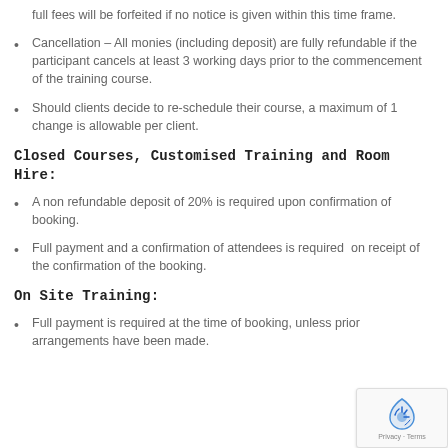full fees will be forfeited if no notice is given within this time frame.
Cancellation – All monies (including deposit) are fully refundable if the participant cancels at least 3 working days prior to the commencement of the training course.
Should clients decide to re-schedule their course, a maximum of 1 change is allowable per client.
Closed Courses, Customised Training and Room Hire:
A non refundable deposit of 20% is required upon confirmation of booking.
Full payment and a confirmation of attendees is required  on receipt of the confirmation of the booking.
On Site Training:
Full payment is required at the time of booking, unless prior arrangements have been made.